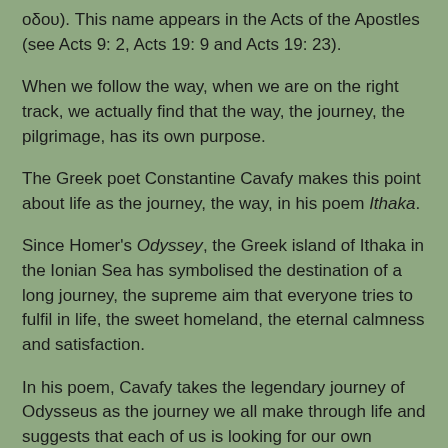οδου). This name appears in the Acts of the Apostles (see Acts 9: 2, Acts 19: 9 and Acts 19: 23).
When we follow the way, when we are on the right track, we actually find that the way, the journey, the pilgrimage, has its own purpose.
The Greek poet Constantine Cavafy makes this point about life as the journey, the way, in his poem Ithaka.
Since Homer's Odyssey, the Greek island of Ithaka in the Ionian Sea has symbolised the destination of a long journey, the supreme aim that everyone tries to fulfil in life, the sweet homeland, the eternal calmness and satisfaction.
In his poem, Cavafy takes the legendary journey of Odysseus as the journey we all make through life and suggests that each of us is looking for our own Ithaka. In the end, however, it is not the goal but the journey that matters, because this journey makes us wise and gives us the rich gifts of experience, knowledge and maturity: